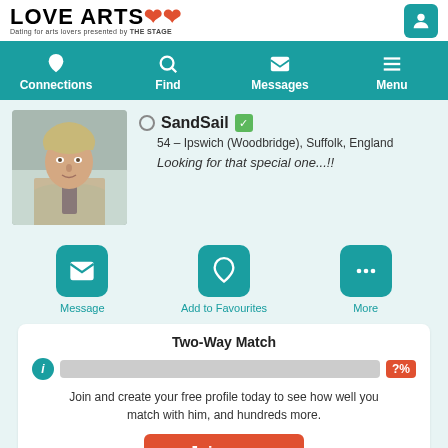LOVE ARTS - Dating for arts lovers presented by THE STAGE
Connections | Find | Messages | Menu
[Figure (photo): Profile photo of man in suit with light hair]
SandSail - 54 – Ipswich (Woodbridge), Suffolk, England - Looking for that special one...!!
Message | Add to Favourites | More
Two-Way Match
?%
Join and create your free profile today to see how well you match with him, and hundreds more.
Join now
Online: Yesterday